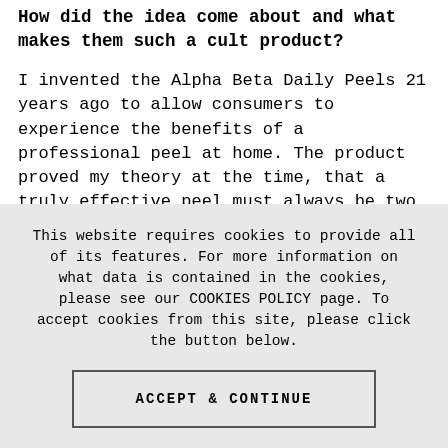How did the idea come about and what makes them such a cult product?
I invented the Alpha Beta Daily Peels 21 years ago to allow consumers to experience the benefits of a professional peel at home. The product proved my theory at the time, that a truly effective peel must always be two steps and, furthermore, must never irritate the skin. Unlike other popular
This website requires cookies to provide all of its features. For more information on what data is contained in the cookies, please see our COOKIES POLICY page. To accept cookies from this site, please click the button below.
ACCEPT & CONTINUE